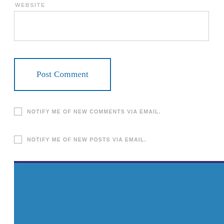WEBSITE
[Figure (other): Empty text input field for website URL]
Post Comment
NOTIFY ME OF NEW COMMENTS VIA EMAIL.
NOTIFY ME OF NEW POSTS VIA EMAIL.
Yesenia Ruvalcaba-Garcia
[Figure (photo): Headshot photo of Yesenia Ruvalcaba-Garcia, a woman with dark hair, on a light background]